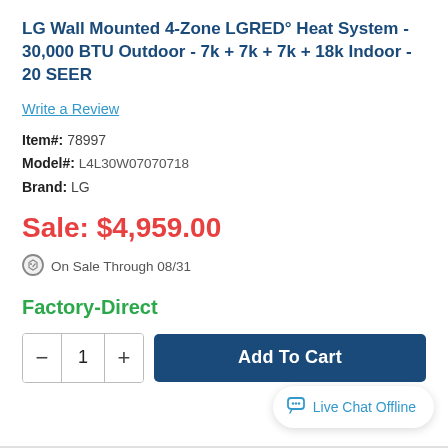LG Wall Mounted 4-Zone LGRED° Heat System - 30,000 BTU Outdoor - 7k + 7k + 7k + 18k Indoor - 20 SEER
Write a Review
Item#: 78997
Model#: L4L30W07070718
Brand: LG
Sale: $4,959.00
On Sale Through 08/31
Factory-Direct
Add To Cart
Live Chat Offline